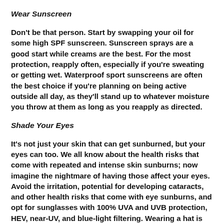Wear Sunscreen
Don't be that person. Start by swapping your oil for some high SPF sunscreen. Sunscreen sprays are a good start while creams are the best. For the most protection, reapply often, especially if you're sweating or getting wet. Waterproof sport sunscreens are often the best choice if you're planning on being active outside all day, as they'll stand up to whatever moisture you throw at them as long as you reapply as directed.
Shade Your Eyes
It's not just your skin that can get sunburned, but your eyes can too. We all know about the health risks that come with repeated and intense skin sunburns; now imagine the nightmare of having those affect your eyes. Avoid the irritation, potential for developing cataracts, and other health risks that come with eye sunburns, and opt for sunglasses with 100% UVA and UVB protection, HEV, near-UV, and blue-light filtering. Wearing a hat is also a good idea to protect your eyes and delicate facial skin.